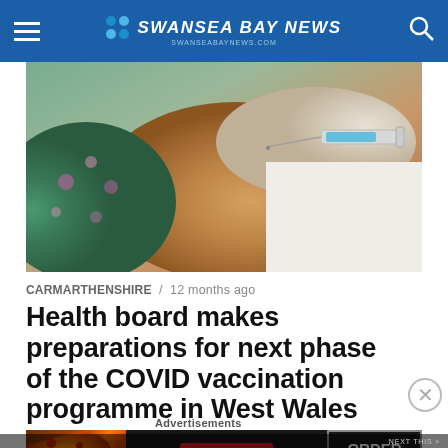SWANSEA BAY NEWS — swanseabaynews.com
[Figure (photo): Close-up of a gloved healthcare worker administering a vaccination injection into a person's upper arm. The patient is wearing a floral top.]
CARMARTHENSHIRE / 12 months ago
Health board makes preparations for next phase of the COVID vaccination programme in West Wales
Advertisements
[Figure (photo): Seamless food delivery advertisement banner showing pizza on the left, Seamless logo in the center, and ORDER NOW text on the right.]